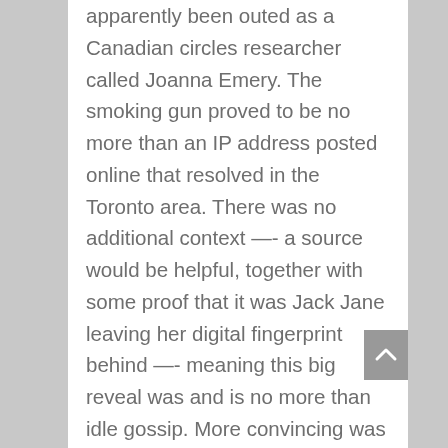apparently been outed as a Canadian circles researcher called Joanna Emery. The smoking gun proved to be no more than an IP address posted online that resolved in the Toronto area. There was no additional context —- a source would be helpful, together with some proof that it was Jack Jane leaving her digital fingerprint behind —- meaning this big reveal was and is no more than idle gossip. More convincing was JJ's ability to be completely fooled by the online sock puppetry antics of Team Clandestine. She resolutely refused to believe that Facebook users Cipro Clerc and Felicity